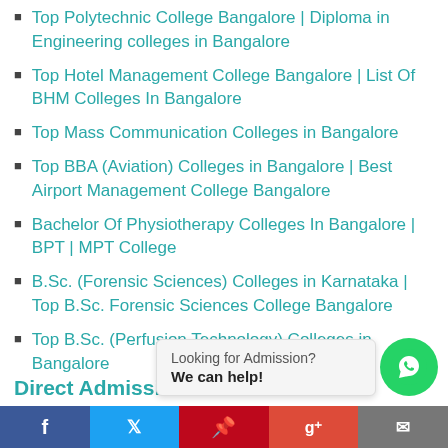Top Polytechnic College Bangalore | Diploma in Engineering colleges in Bangalore
Top Hotel Management College Bangalore | List Of BHM Colleges In Bangalore
Top Mass Communication Colleges in Bangalore
Top BBA (Aviation) Colleges in Bangalore | Best Airport Management College Bangalore
Bachelor Of Physiotherapy Colleges In Bangalore | BPT | MPT College
B.Sc. (Forensic Sciences) Colleges in Karnataka | Top B.Sc. Forensic Sciences College Bangalore
Top B.Sc. (Perfusion Technology) Colleges in Bangalore
Direct Admission
Looking for Admission? We can help!